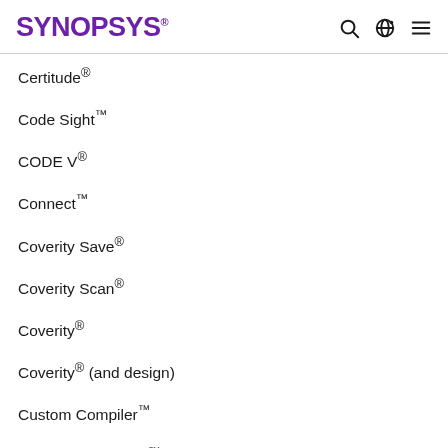SYNOPSYS
Certitude®
Code Sight™
CODE V®
Connect™
Coverity Save®
Coverity Scan®
Coverity®
Coverity® (and design)
Custom Compiler™
Custom WaveView™
CustomExplorer™
CustomFault™